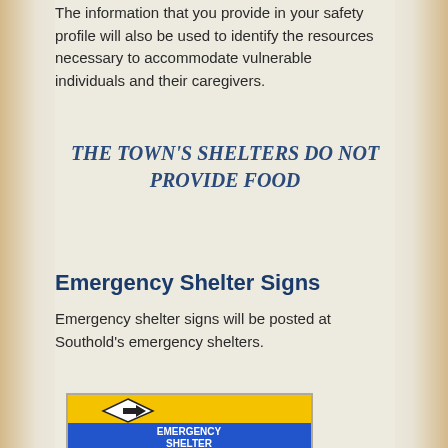The information that you provide in your safety profile will also be used to identify the resources necessary to accommodate vulnerable individuals and their caregivers.
THE TOWN'S SHELTERS DO NOT PROVIDE FOOD
Emergency Shelter Signs
Emergency shelter signs will be posted at Southold's emergency shelters.
[Figure (photo): A yellow and blue emergency shelter directional sign. The yellow top portion has a diamond shape with a black arrow pointing right. The blue bottom portion reads 'EMERGENCY SHELTER' in white bold text with a shelter symbol below.]